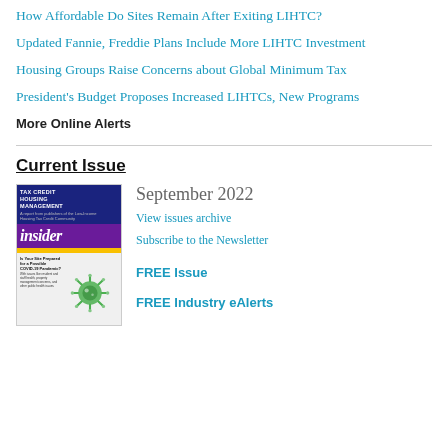How Affordable Do Sites Remain After Exiting LIHTC?
Updated Fannie, Freddie Plans Include More LIHTC Investment
Housing Groups Raise Concerns about Global Minimum Tax
President's Budget Proposes Increased LIHTCs, New Programs
More Online Alerts
Current Issue
[Figure (illustration): Cover of Tax Credit Housing Management Insider magazine, September 2022, showing purple and yellow branding with an article about COVID-19 pandemic site preparedness and a green virus illustration.]
September 2022
View issues archive
Subscribe to the Newsletter
FREE Issue
FREE Industry eAlerts